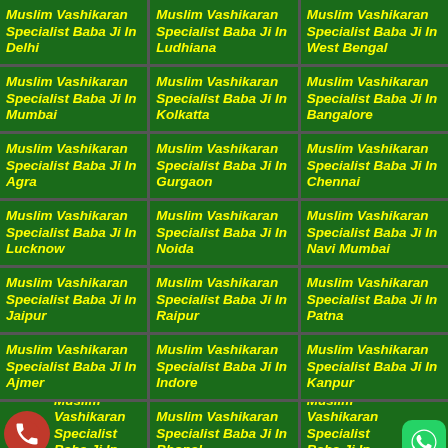Muslim Vashikaran Specialist Baba Ji In Delhi
Muslim Vashikaran Specialist Baba Ji In Ludhiana
Muslim Vashikaran Specialist Baba Ji In West Bengal
Muslim Vashikaran Specialist Baba Ji In Mumbai
Muslim Vashikaran Specialist Baba Ji In Kolkatta
Muslim Vashikaran Specialist Baba Ji In Bangalore
Muslim Vashikaran Specialist Baba Ji In Agra
Muslim Vashikaran Specialist Baba Ji In Gurgaon
Muslim Vashikaran Specialist Baba Ji In Chennai
Muslim Vashikaran Specialist Baba Ji In Lucknow
Muslim Vashikaran Specialist Baba Ji In Noida
Muslim Vashikaran Specialist Baba Ji In Navi Mumbai
Muslim Vashikaran Specialist Baba Ji In Jaipur
Muslim Vashikaran Specialist Baba Ji In Raipur
Muslim Vashikaran Specialist Baba Ji In Patna
Muslim Vashikaran Specialist Baba Ji In Ajmer
Muslim Vashikaran Specialist Baba Ji In Indore
Muslim Vashikaran Specialist Baba Ji In Kanpur
Muslim Vashikaran Specialist Baba Ji In Sikar
Muslim Vashikaran Specialist Baba Ji In Bhopal
Muslim Vashikaran Specialist Baba Ji In Jammu